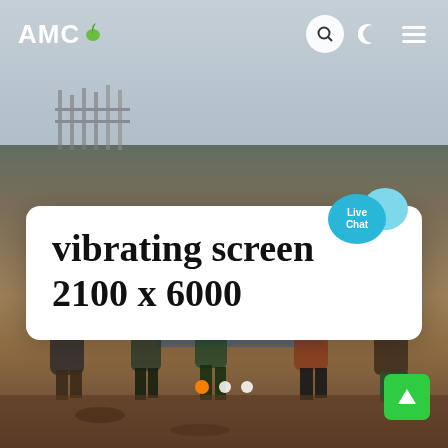AMC
[Figure (photo): Construction site photo showing workers standing around heavy machinery (likely a vibrating screen or grinder) on a sandy/dirt ground. Background shows rebar structures and overcast sky.]
vibrating screen 2100 x 6000